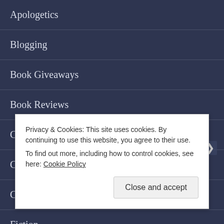Apologetics
Blogging
Book Giveaways
Book Reviews
Christian Living
Culture
Current Events
Fiction
Flotsam & Jetsam
Privacy & Cookies: This site uses cookies. By continuing to use this website, you agree to their use.
To find out more, including how to control cookies, see here: Cookie Policy
Close and accept